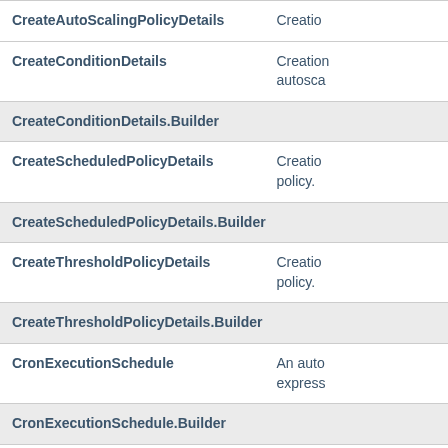| Class | Description |
| --- | --- |
| CreateAutoScalingPolicyDetails | Creatio… |
| CreateConditionDetails | Creatio… autosca… |
| CreateConditionDetails.Builder |  |
| CreateScheduledPolicyDetails | Creatio… policy. |
| CreateScheduledPolicyDetails.Builder |  |
| CreateThresholdPolicyDetails | Creatio… policy. |
| CreateThresholdPolicyDetails.Builder |  |
| CronExecutionSchedule | An auto… express… |
| CronExecutionSchedule.Builder |  |
| ExecutionSchedule | An exec… |
| InstancePoolResource | A Comp… |
| InstancePoolResource.Builder |  |